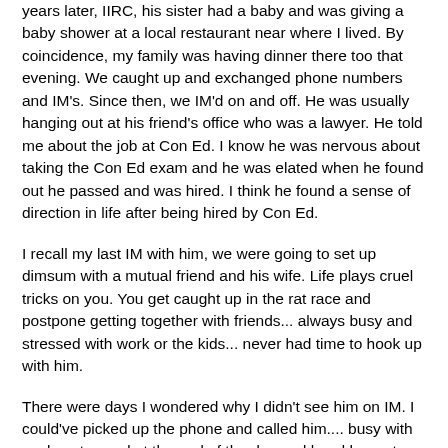years later, IIRC, his sister had a baby and was giving a baby shower at a local restaurant near where I lived. By coincidence, my family was having dinner there too that evening. We caught up and exchanged phone numbers and IM's. Since then, we IM'd on and off. He was usually hanging out at his friend's office who was a lawyer. He told me about the job at Con Ed. I know he was nervous about taking the Con Ed exam and he was elated when he found out he passed and was hired. I think he found a sense of direction in life after being hired by Con Ed.
I recall my last IM with him, we were going to set up dimsum with a mutual friend and his wife. Life plays cruel tricks on you. You get caught up in the rat race and postpone getting together with friends... always busy and stressed with work or the kids... never had time to hook up with him.
There were days I wondered why I didn't see him on IM. I could've picked up the phone and called him.... busy with work... stressed at the end of the day and head home to my wife and kids. How long would a phone call take?
I was having dimsum with my wife and kids one Saturday in